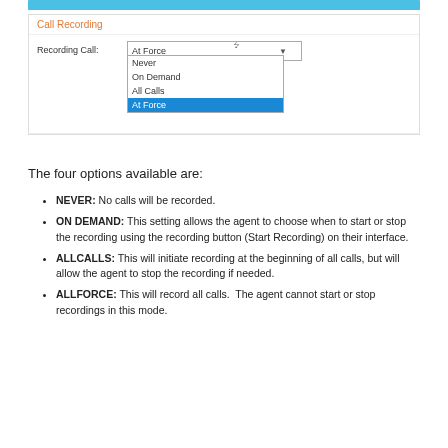[Figure (screenshot): Screenshot of a Call Recording settings UI showing a dropdown for 'Recording Call' with options: Never, On Demand, All Calls, All Force (selected/highlighted in blue)]
The four options available are:
NEVER: No calls will be recorded.
ON DEMAND: This setting allows the agent to choose when to start or stop the recording using the recording button (Start Recording) on their interface.
ALLCALLS: This will initiate recording at the beginning of all calls, but will allow the agent to stop the recording if needed.
ALLFORCE: This will record all calls.  The agent cannot start or stop recordings in this mode.